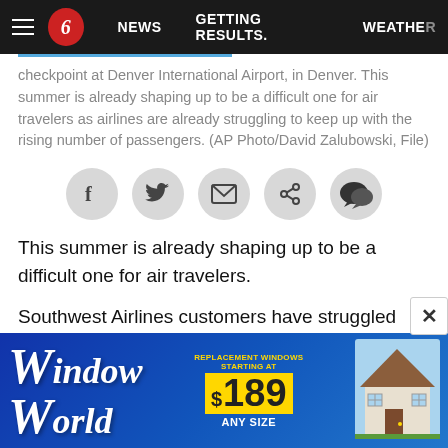Navigation bar: menu, Channel 6 logo, NEWS, GETTING RESULTS., WEATHER
checkpoint at Denver International Airport, in Denver. This summer is already shaping up to be a difficult one for air travelers as airlines are already struggling to keep up with the rising number of passengers. (AP Photo/David Zalubowski, File)
[Figure (other): Social sharing buttons row: Facebook, Twitter, Email, Share, Comment icons on grey circles]
This summer is already shaping up to be a difficult one for air travelers.
Southwest Airlines customers have struggled with thousands of delays and hundreds of canceled flights in the past...
[Figure (other): Window World advertisement banner with blue background, stylized logo text, $189 any size promotion, and house image]